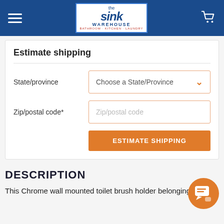[Figure (screenshot): The Sink Warehouse website header with hamburger menu, logo, and cart icon on dark blue background]
Estimate shipping
State/province — Choose a State/Province dropdown
Zip/postal code* — Zip/postal code input field
ESTIMATE SHIPPING button
DESCRIPTION
This Chrome wall mounted toilet brush holder belonging to the